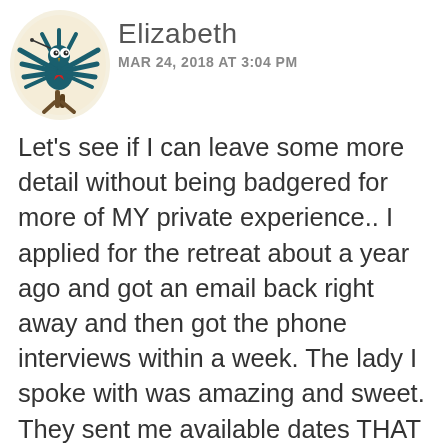[Figure (illustration): Cartoon avatar of a quirky bird-like creature with teal/dark blue feathers spreading out, a red star on its body, standing on brown legs, on a light cream circular background]
Elizabeth
MAR 24, 2018 AT 3:04 PM
Let’s see if I can leave some more detail without being badgered for more of MY private experience.. I applied for the retreat about a year ago and got an email back right away and then got the phone interviews within a week. The lady I spoke with was amazing and sweet. They sent me available dates THAT week but then I got nervous and backed out, as I hadn’t been totally honest with my husband about how bad my abuse was